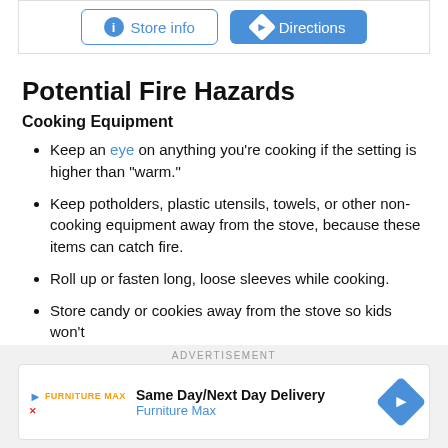[Figure (screenshot): Two UI buttons: 'Store info' (outlined blue) and 'Directions' (filled blue)]
Potential Fire Hazards
Cooking Equipment
Keep an eye on anything you're cooking if the setting is higher than "warm."
Keep potholders, plastic utensils, towels, or other non-cooking equipment away from the stove, because these items can catch fire.
Roll up or fasten long, loose sleeves while cooking.
Store candy or cookies away from the stove so kids won't
ADVERTISEMENT
[Figure (screenshot): Advertisement banner: Same Day/Next Day Delivery - Furniture Max with direction icon]